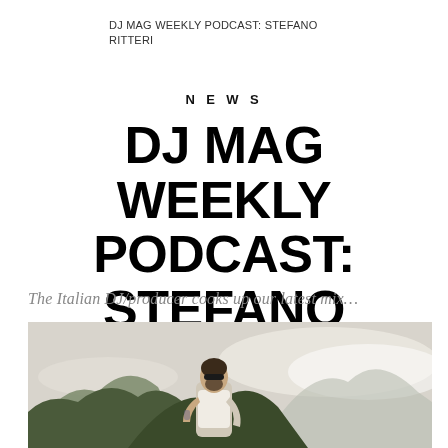DJ MAG WEEKLY PODCAST: STEFANO RITTERI
NEWS
DJ MAG WEEKLY PODCAST: STEFANO RITTERI
The Italian DJ/producer cooks up our latest mix…
[Figure (photo): Man wearing sunglasses and a white t-shirt standing outdoors on a mountain landscape with misty peaks in the background]